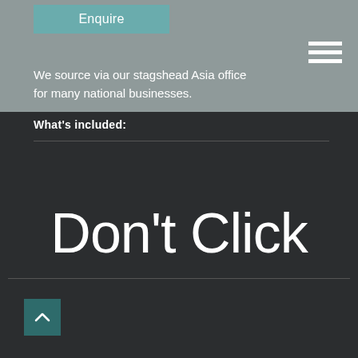Enquire
We source via our stagshead Asia office for many national businesses.
What's included:
Don't Click
[Figure (other): Back to top arrow button (teal square with upward chevron)]